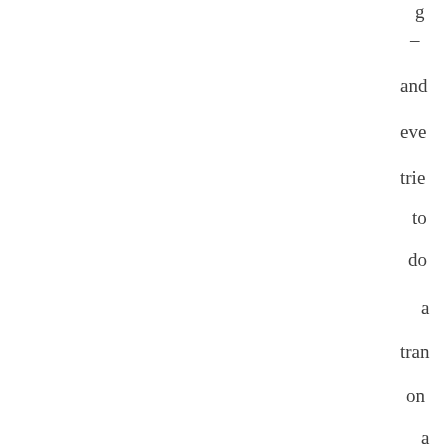– and eve trie to do a tran on a rat in my Dac lab.
Tha a lon tra of the